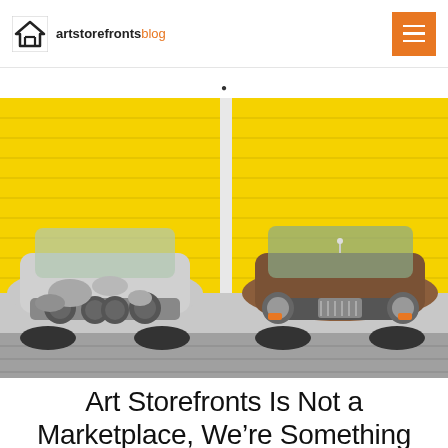artstorefronts blog
[Figure (photo): Two vintage classic cars parked side by side in front of two yellow roller garage doors. Left car is white/primer with worn paint, right car is brown/copper colored. Both are front-facing Jaguar-style vehicles on a cobblestone surface.]
Art Storefronts Is Not a Marketplace, We’re Something